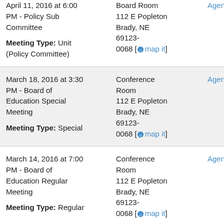April 11, 2016 at 6:00 PM - Policy Sub Committee
Meeting Type: Unit (Policy Committee)
Board Room 112 E Popleton Brady, NE 69123-0068 [map it]
Agenda
March 18, 2016 at 3:30 PM - Board of Education Special Meeting
Meeting Type: Special
Conference Room 112 E Popleton Brady, NE 69123-0068 [map it]
Agenda
March 14, 2016 at 7:00 PM - Board of Education Regular Meeting
Meeting Type: Regular
Conference Room 112 E Popleton Brady, NE 69123-0068 [map it]
Agenda